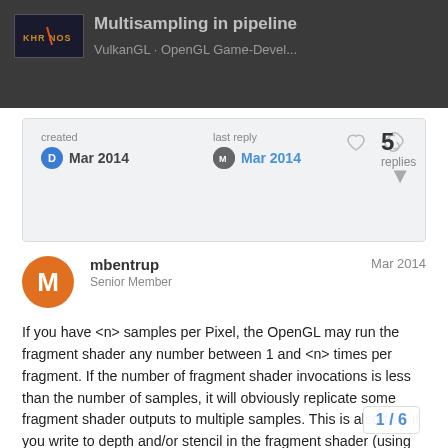Multisampling in pipeline — VulkanGL OpenGL Game-Devel...
created Mar 2014  last reply Mar 2014  5 replies
mbentrup  Senior Member  Mar 2014
If you have <n> samples per Pixel, the OpenGL may run the fragment shader any number between 1 and <n> times per fragment. If the number of fragment shader invocations is less than the number of samples, it will obviously replicate some fragment shader outputs to multiple samples. This is also true if you write to depth and/or stencil in the fragment shader (using extensions), but if you don't overwrite the system-provided depth and stencil values, they will be comp
1 / 6